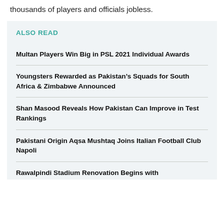thousands of players and officials jobless.
ALSO READ
Multan Players Win Big in PSL 2021 Individual Awards
Youngsters Rewarded as Pakistan's Squads for South Africa & Zimbabwe Announced
Shan Masood Reveals How Pakistan Can Improve in Test Rankings
Pakistani Origin Aqsa Mushtaq Joins Italian Football Club Napoli
Rawalpindi Stadium Renovation Begins with